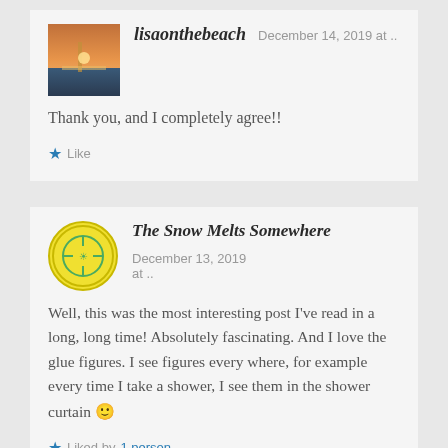lisaonthebeach   December 14, 2019 at ..
Thank you, and I completely agree!!
Like
The Snow Melts Somewhere   December 13, 2019 at ..
Well, this was the most interesting post I've read in a long, long time! Absolutely fascinating. And I love the glue figures. I see figures every where, for example every time I take a shower, I see them in the shower curtain 🙂
Liked by 1 person